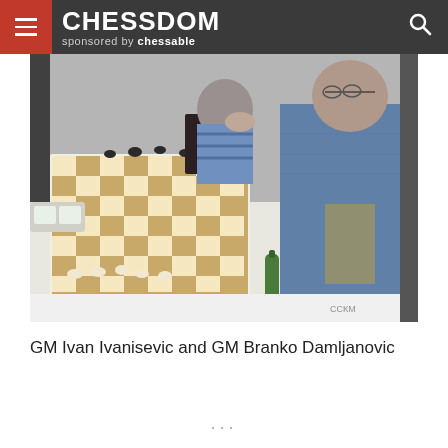CHESSDOM sponsored by chessable
[Figure (photo): Two chess grandmasters seated at a chess board during a tournament. A man in a blue striped shirt has his head resting on his hand, and another man in a denim jacket stands over the board. Chess pieces, clocks, sponsor signs (gorenje), and bottles are visible on the table.]
GM Ivan Ivanisevic and GM Branko Damljanovic